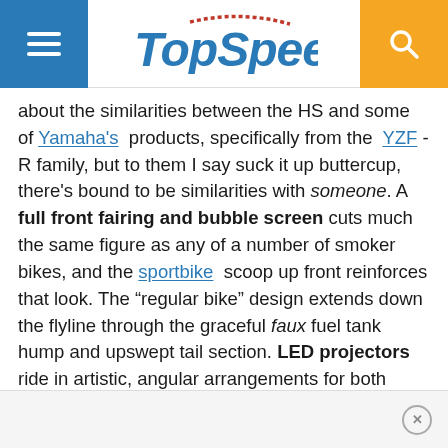TopSpeed
about the similarities between the HS and some of Yamaha's products, specifically from the YZF -R family, but to them I say suck it up buttercup, there's bound to be similarities with someone. A full front fairing and bubble screen cuts much the same figure as any of a number of smoker bikes, and the sportbike scoop up front reinforces that look. The “regular bike” design extends down the flyline through the graceful faux fuel tank hump and upswept tail section. LED projectors ride in artistic, angular arrangements for both headlights and taillights for two-way visibility.